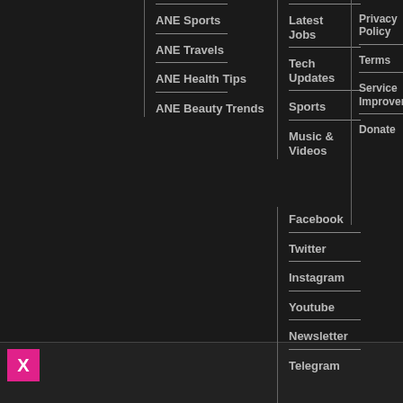ANE Sports
ANE Travels
ANE Health Tips
ANE Beauty Trends
Latest Jobs
Tech Updates
Sports
Music & Videos
Privacy Policy
Terms
Service Improvement
Donate
Facebook
Twitter
Instagram
Youtube
Newsletter
Telegram